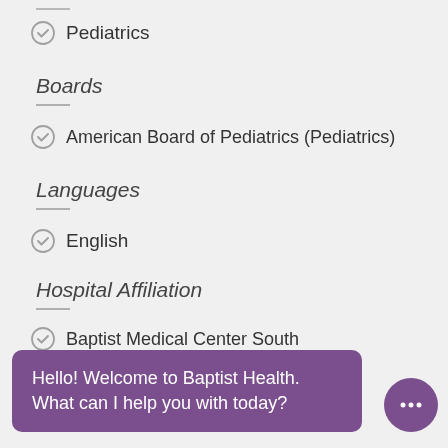Pediatrics
Boards
American Board of Pediatrics (Pediatrics)
Languages
English
Hospital Affiliation
Baptist Medical Center South
Wolfson Children's Hospital
Legal Practice Name
Hello! Welcome to Baptist Health. What can I help you with today?